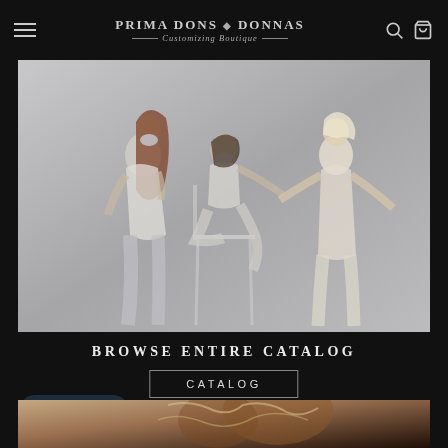Prima Dons & Donnas — Customizing Boutique
[Figure (photo): Three women models posing in a studio setting with a grey background; one standing left, one seated center, one standing right, all wearing fashion outfits with face masks]
BROWSE ENTIRE CATALOG
CATALOG
Chat with us
[Figure (photo): Partial view of a model wearing sparkling/metallic fashion, cropped at bottom of page]